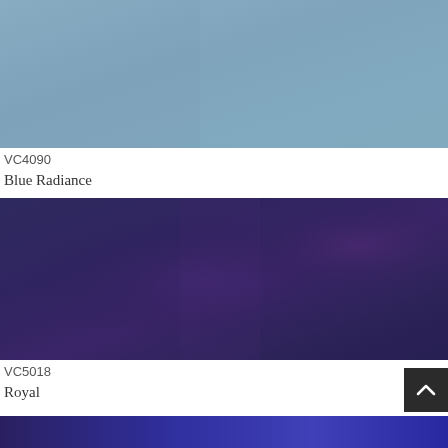[Figure (photo): Color swatch sample for VC4090 Blue Radiance — a muted steel blue / powder blue solid color fill]
VC4090
Blue Radiance
[Figure (photo): Color swatch sample for VC5018 Royal — a deep indigo/violet purple color with subtle texture and variation]
VC5018
Royal
[Figure (photo): Partial color swatch at bottom — deep purple/blue color, cropped]
[Figure (other): Scroll-to-top button: dark square with upward chevron arrow in white]